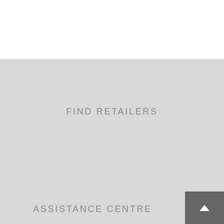[Figure (other): White top section of a webpage]
FIND RETAILERS
ASSISTANCE CENTRE
[Figure (other): Dark gray scroll-to-top button with upward chevron arrow]